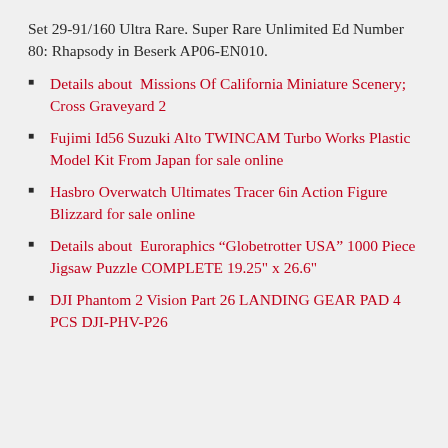Set 29-91/160 Ultra Rare. Super Rare Unlimited Ed Number 80: Rhapsody in Beserk AP06-EN010.
Details about  Missions Of California Miniature Scenery; Cross Graveyard 2
Fujimi Id56 Suzuki Alto TWINCAM Turbo Works Plastic Model Kit From Japan for sale online
Hasbro Overwatch Ultimates Tracer 6in Action Figure Blizzard for sale online
Details about  Euroraphics “Globetrotter USA” 1000 Piece Jigsaw Puzzle COMPLETE 19.25" x 26.6"
DJI Phantom 2 Vision Part 26 LANDING GEAR PAD 4 PCS DJI-PHV-P26